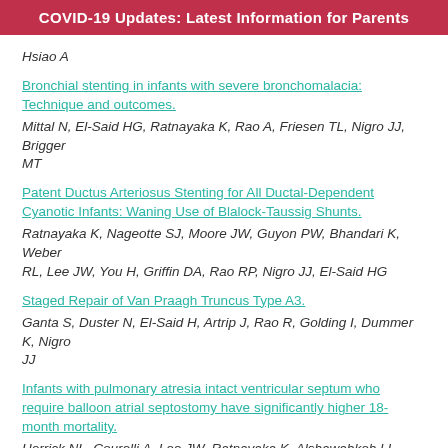COVID-19 Updates: Latest Information for Parents
Hsiao A
Bronchial stenting in infants with severe bronchomalacia: Technique and outcomes.
Mittal N, El-Said HG, Ratnayaka K, Rao A, Friesen TL, Nigro JJ, Brigger MT
Patent Ductus Arteriosus Stenting for All Ductal-Dependent Cyanotic Infants: Waning Use of Blalock-Taussig Shunts.
Ratnayaka K, Nageotte SJ, Moore JW, Guyon PW, Bhandari K, Weber RL, Lee JW, You H, Griffin DA, Rao RP, Nigro JJ, El-Said HG
Staged Repair of Van Praagh Truncus Type A3.
Ganta S, Duster N, El-Said H, Artrip J, Rao R, Golding I, Dummer K, Nigro JJ
Infants with pulmonary atresia intact ventricular septum who require balloon atrial septostomy have significantly higher 18-month mortality.
Herrick NL, Courelli A, Lee JW, Ratnayaka K, Alshawabkeh LI, Moore JW, El-Said HG
Percutaneous Transcatheter Pulmonary Valve Replacement...